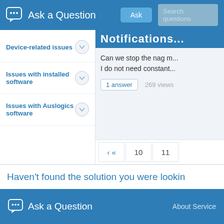Ask a Question  Ask  Search questions
Device-related issues
Issues with installed software
Issues with Auslogics software
Notifications...
Can we stop the nag m... I do not need constant...
1 answer   269 views
< «   10   11
Haven't found the solution you were lookin...
Ask a Question   About Service